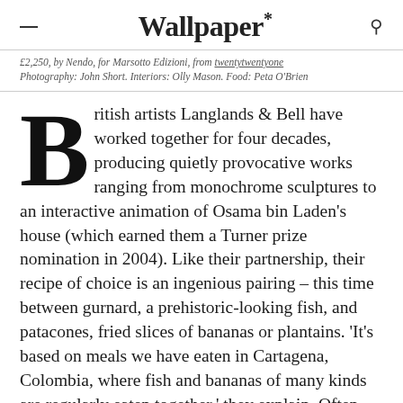Wallpaper*
£2,250, by Nendo, for Marsotto Edizioni, from twentytwentyone. Photography: John Short. Interiors: Olly Mason. Food: Peta O'Brien
British artists Langlands & Bell have worked together for four decades, producing quietly provocative works ranging from monochrome sculptures to an interactive animation of Osama bin Laden's house (which earned them a Turner prize nomination in 2004). Like their partnership, their recipe of choice is an ingenious pairing – this time between gurnard, a prehistoric-looking fish, and patacones, fried slices of bananas or plantains. 'It's based on meals we have eaten in Cartagena, Colombia, where fish and bananas of many kinds are regularly eaten together,' they explain. Often prepared at Untitled, a